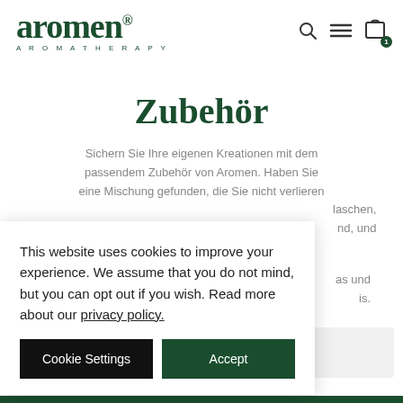aromen AROMATHERAPY
Zubehör
Sichern Sie Ihre eigenen Kreationen mit dem passendem Zubehör von Aromen. Haben Sie eine Mischung gefunden, die Sie nicht verlieren …laschen, …nd, und …as und …is.
This website uses cookies to improve your experience. We assume that you do not mind, but you can opt out if you wish. Read more about our privacy policy.